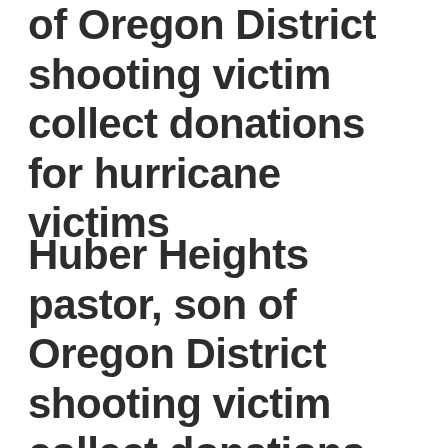of Oregon District shooting victim collect donations for hurricane victims
Huber Heights pastor, son of Oregon District shooting victim collect donations for hurricane victims